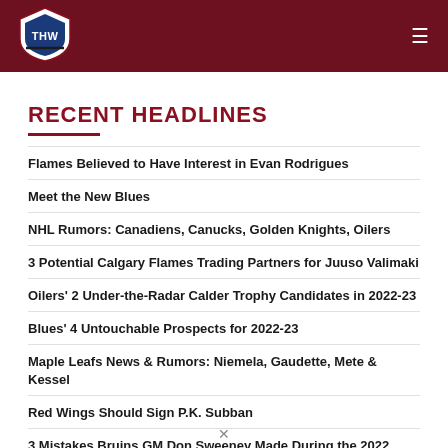[Figure (logo): THW Hockey Writers shield logo in header]
RECENT HEADLINES
Flames Believed to Have Interest in Evan Rodrigues
Meet the New Blues
NHL Rumors: Canadiens, Canucks, Golden Knights, Oilers
3 Potential Calgary Flames Trading Partners for Juuso Valimaki
Oilers' 2 Under-the-Radar Calder Trophy Candidates in 2022-23
Blues' 4 Untouchable Prospects for 2022-23
Maple Leafs News & Rumors: Niemela, Gaudette, Mete & Kessel
Red Wings Should Sign P.K. Subban
3 Mistakes Bruins GM Don Sweeney Made During the 2022 Offseason
Projecting Canada's 2024 World Cup of Hockey Roster
Maple Leafs Commentary: Auston Matthews By the Eye Test